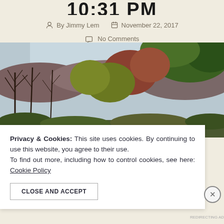10:31 PM
By Jimmy Lem   November 22, 2017
No Comments
[Figure (photo): Autumn forest scene with bare trees and colorful foliage against a light sky, wide landscape photo]
Privacy & Cookies: This site uses cookies. By continuing to use this website, you agree to their use. To find out more, including how to control cookies, see here: Cookie Policy
CLOSE AND ACCEPT